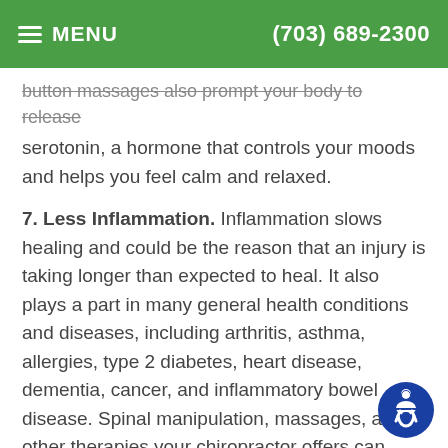MENU  (703) 689-2300
Button massages also prompt your body to release serotonin, a hormone that controls your moods and helps you feel calm and relaxed.
7. Less Inflammation. Inflammation slows healing and could be the reason that an injury is taking longer than expected to heal. It also plays a part in many general health conditions and diseases, including arthritis, asthma, allergies, type 2 diabetes, heart disease, dementia, cancer, and inflammatory bowel disease. Spinal manipulation, massages, and other therapies your chiropractor offers can decrease inflammation and may reduce your risk of serious health issues.
Are you ready to improve your health with a visit to